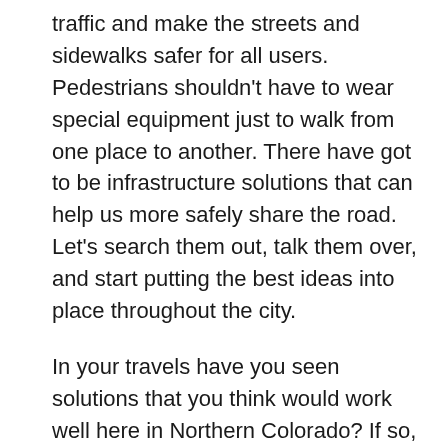traffic and make the streets and sidewalks safer for all users. Pedestrians shouldn't have to wear special equipment just to walk from one place to another. There have got to be infrastructure solutions that can help us more safely share the road. Let's search them out, talk them over, and start putting the best ideas into place throughout the city.
In your travels have you seen solutions that you think would work well here in Northern Colorado? If so, please share them in the comments. And if you have pics, I'd love to see them.